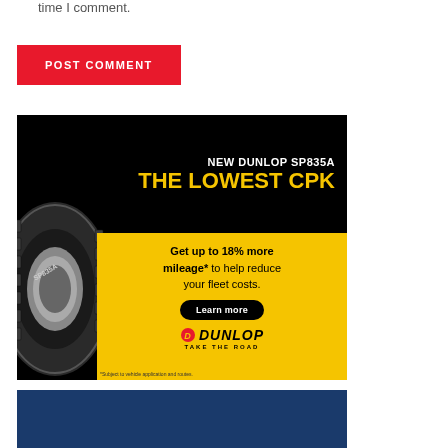time I comment.
POST COMMENT
[Figure (illustration): Dunlop SP835A tire advertisement. Black background top section with white text 'NEW DUNLOP SP835A' and yellow bold text 'THE LOWEST CPK'. Yellow section with text 'Get up to 18% more mileage* to help reduce your fleet costs.' and a black 'Learn more' button. Dunlop logo with 'TAKE THE ROAD' tagline. A truck tire (SP835) image on the left side overlapping both sections. Fine print: '*Subject to vehicle application and routes.']
[Figure (illustration): Dark blue banner section at the bottom of the page.]